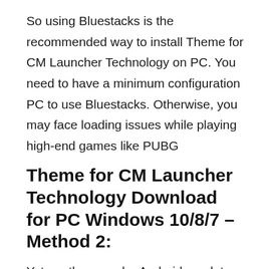So using Bluestacks is the recommended way to install Theme for CM Launcher Technology on PC. You need to have a minimum configuration PC to use Bluestacks. Otherwise, you may face loading issues while playing high-end games like PUBG
Theme for CM Launcher Technology Download for PC Windows 10/8/7 – Method 2:
Yet another popular Android emulator which is gaining a lot of attention in recent times is MEmu play. It is super flexible, fast and exclusively designed for gaming purposes. Now we will see how to Download Theme for CM Launcher